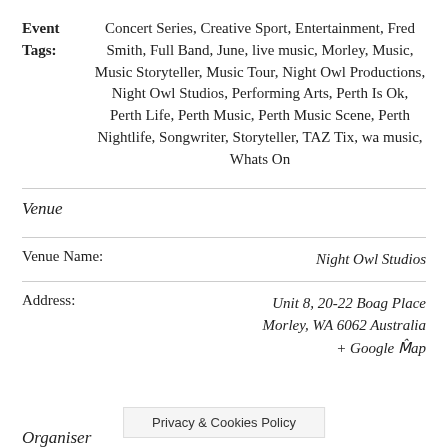Event Tags: Concert Series, Creative Sport, Entertainment, Fred Smith, Full Band, June, live music, Morley, Music, Music Storyteller, Music Tour, Night Owl Productions, Night Owl Studios, Performing Arts, Perth Is Ok, Perth Life, Perth Music, Perth Music Scene, Perth Nightlife, Songwriter, Storyteller, TAZ Tix, wa music, Whats On
Venue
Venue Name: Night Owl Studios
Address: Unit 8, 20-22 Boag Place Morley, WA 6062 Australia + Google Map
Privacy & Cookies Policy
Organiser